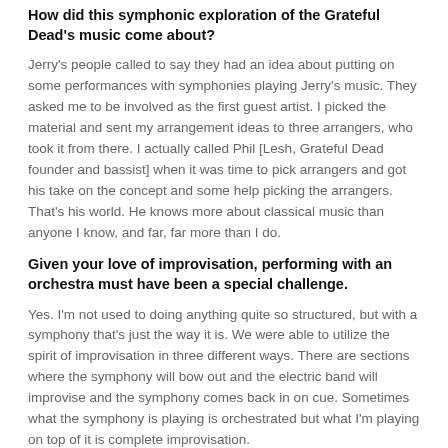How did this symphonic exploration of the Grateful Dead's music come about?
Jerry's people called to say they had an idea about putting on some performances with symphonies playing Jerry's music. They asked me to be involved as the first guest artist. I picked the material and sent my arrangement ideas to three arrangers, who took it from there. I actually called Phil [Lesh, Grateful Dead founder and bassist] when it was time to pick arrangers and got his take on the concept and some help picking the arrangers. That's his world. He knows more about classical music than anyone I know, and far, far more than I do.
Given your love of improvisation, performing with an orchestra must have been a special challenge.
Yes. I'm not used to doing anything quite so structured, but with a symphony that's just the way it is. We were able to utilize the spirit of improvisation in three different ways. There are sections where the symphony will bow out and the electric band will improvise and the symphony comes back in on cue. Sometimes what the symphony is playing is orchestrated but what I'm playing on top of it is complete improvisation.